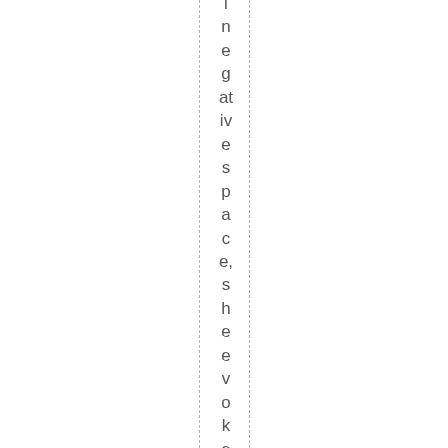negativespace,sheevokesanarrat